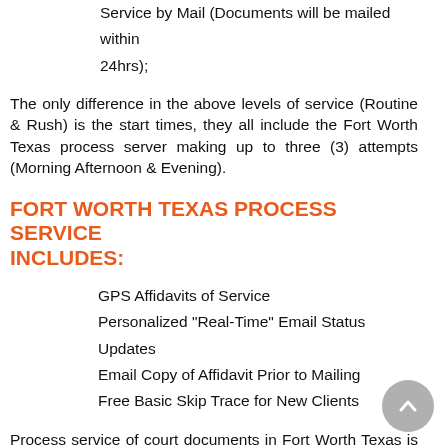Service by Mail (Documents will be mailed within 24hrs);
The only difference in the above levels of service (Routine & Rush) is the start times, they all include the Fort Worth Texas process server making up to three (3) attempts (Morning Afternoon & Evening).
FORT WORTH TEXAS PROCESS SERVICE INCLUDES:
GPS Affidavits of Service
Personalized "Real-Time" Email Status Updates
Email Copy of Affidavit Prior to Mailing
Free Basic Skip Trace for New Clients
Process service of court documents in Fort Worth Texas is performed only by experienced Fort Worth Texas process servers who meet all of the latest licensing, education, and bonding requirements imposed by the jurisdiction in which they operate. At Undisputed Legal, Inc., we specialize in locating and serving court cases on evasive defendants and witnesses. For more detailed information on all jurisdictions please visit our rules and laws page listed above.
OUR PROCESS
Please contact us for details (800) 774-6115 or...